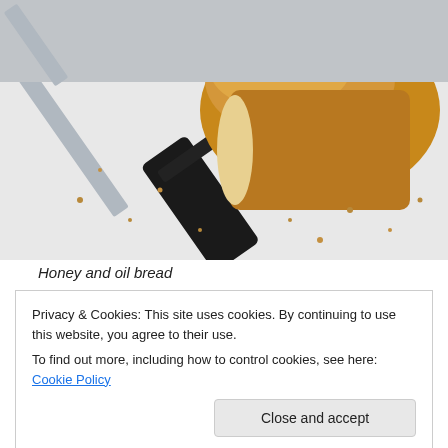[Figure (photo): A loaf of bread on a white cutting board with a black-handled knife, with bread crumbs scattered around.]
Honey and oil bread
Privacy & Cookies: This site uses cookies. By continuing to use this website, you agree to their use.
To find out more, including how to control cookies, see here: Cookie Policy
1 tbsp honey